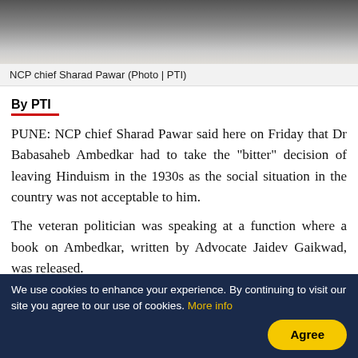[Figure (photo): Partial photo of NCP chief Sharad Pawar speaking at a microphone, wearing a white garment]
NCP chief Sharad Pawar (Photo | PTI)
By PTI
PUNE: NCP chief Sharad Pawar said here on Friday that Dr Babasaheb Ambedkar had to take the "bitter" decision of leaving Hinduism in the 1930s as the social situation in the country was not acceptable to him.
The veteran politician was speaking at a function where a book on Ambedkar, written by Advocate Jaidev Gaikwad, was released.
All his life, Ambedkar raised his voice against
We use cookies to enhance your experience. By continuing to visit our site you agree to our use of cookies. More info